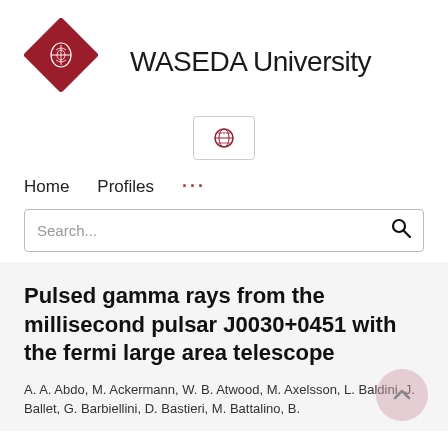[Figure (logo): Waseda University logo: red diamond shape with crest, and text 'WASEDA University']
[Figure (illustration): Globe icon inside a rounded rectangle button]
Home   Profiles   ...
Search...
Pulsed gamma rays from the millisecond pulsar J0030+0451 with the fermi large area telescope
A. A. Abdo, M. Ackermann, W. B. Atwood, M. Axelsson, L. Baldini, J. Ballet, G. Barbiellini, D. Bastieri, M. Battalino, B.